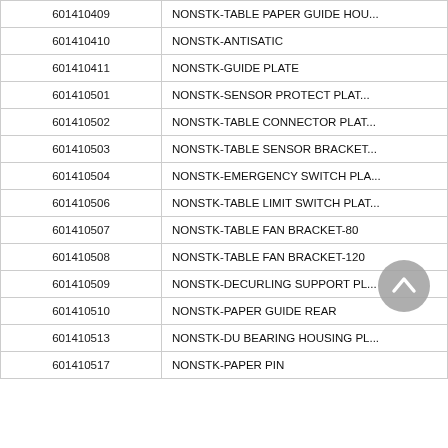| Part Number | Description |
| --- | --- |
| 601410409 | NONSTK-TABLE PAPER GUIDE HOU... |
| 601410410 | NONSTK-ANTISATIC |
| 601410411 | NONSTK-GUIDE PLATE |
| 601410501 | NONSTK-SENSOR PROTECT PLAT... |
| 601410502 | NONSTK-TABLE CONNECTOR PLAT... |
| 601410503 | NONSTK-TABLE SENSOR BRACKET... |
| 601410504 | NONSTK-EMERGENCY SWITCH PLA... |
| 601410506 | NONSTK-TABLE LIMIT SWITCH PLAT... |
| 601410507 | NONSTK-TABLE FAN BRACKET-80 |
| 601410508 | NONSTK-TABLE FAN BRACKET-120 |
| 601410509 | NONSTK-DECURLING SUPPORT PL... |
| 601410510 | NONSTK-PAPER GUIDE REAR |
| 601410513 | NONSTK-DU BEARING HOUSING PL... |
| 601410517 | NONSTK-PAPER PIN |